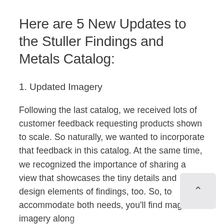Here are 5 New Updates to the Stuller Findings and Metals Catalog:
1. Updated Imagery
Following the last catalog, we received lots of customer feedback requesting products shown to scale. So naturally, we wanted to incorporate that feedback in this catalog. At the same time, we recognized the importance of sharing a view that showcases the tiny details and design elements of findings, too. So, to accommodate both needs, you'll find magnified imagery along